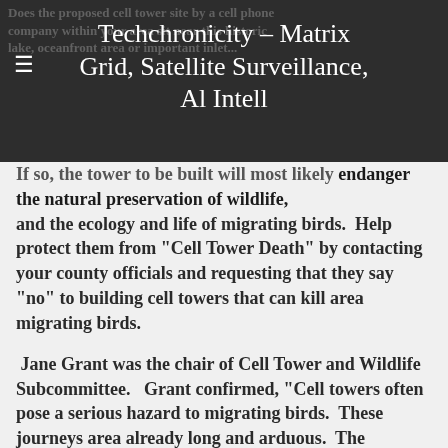Techchronicity - Matrix Grid, Satellite Surveillance, Al Intell
endanger the natural preservation of wildlife, and the ecology and life of migrating birds.   Help protect them from "Cell Tower Death" by contacting your county officials and requesting that they say "no" to building cell towers that can kill area migrating birds.
Jane Grant was the chair of Cell Tower and Wildlife Subcommittee.   Grant confirmed, "Cell towers often pose a serious hazard to migrating birds.  These journeys area already long and arduous.  The increasing number of communication towers is an added deadly obstacle course."